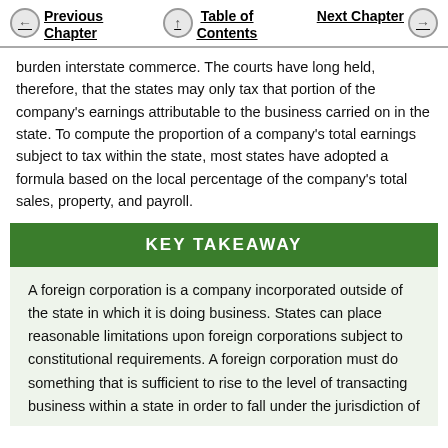Previous Chapter | Table of Contents | Next Chapter
burden interstate commerce. The courts have long held, therefore, that the states may only tax that portion of the company's earnings attributable to the business carried on in the state. To compute the proportion of a company's total earnings subject to tax within the state, most states have adopted a formula based on the local percentage of the company's total sales, property, and payroll.
KEY TAKEAWAY
A foreign corporation is a company incorporated outside of the state in which it is doing business. States can place reasonable limitations upon foreign corporations subject to constitutional requirements. A foreign corporation must do something that is sufficient to rise to the level of transacting business within a state in order to fall under the jurisdiction of